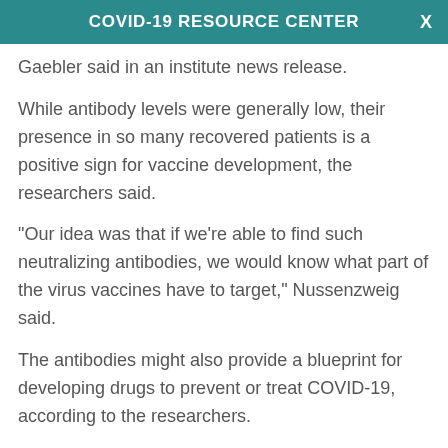COVID-19 RESOURCE CENTER
Gaebler said in an institute news release.
While antibody levels were generally low, their presence in so many recovered patients is a positive sign for vaccine development, the researchers said.
"Our idea was that if we’re able to find such neutralizing antibodies, we would know what part of the virus vaccines have to target," Nussenzweig said.
The antibodies might also provide a blueprint for developing drugs to prevent or treat COVID-19, according to the researchers.
The study provides important insight into how durable people's immune responses are, said Leo Stamatatos, an immunologist at Fred Hutchinson Cancer Research Center in Seattle who reviewed the findings.